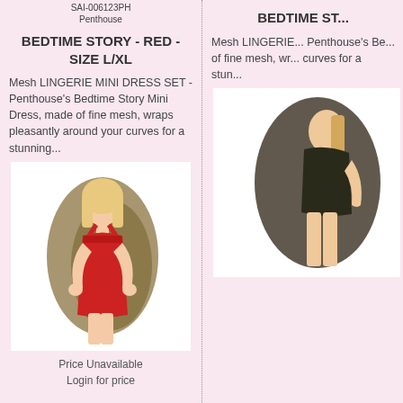SAI-006123PH
Penthouse
BEDTIME STORY - RED - SIZE L/XL
Mesh LINGERIE MINI DRESS SET - Penthouse's Bedtime Story Mini Dress, made of fine mesh, wraps pleasantly around your curves for a stunning...
[Figure (photo): Model wearing a red mesh lingerie mini dress set against a gold/brown paint splash background]
Price Unavailable
Login for price
BEDTIME ST...
Mesh LINGERIE... Penthouse's Be... of fine mesh, wr... curves for a stun...
[Figure (photo): Partial view of model wearing dark colored lingerie against dark background]